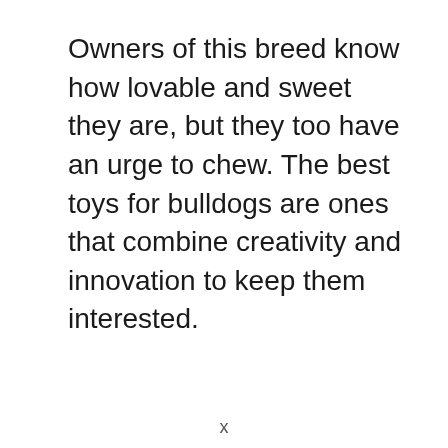Owners of this breed know how lovable and sweet they are, but they too have an urge to chew. The best toys for bulldogs are ones that combine creativity and innovation to keep them interested.
x